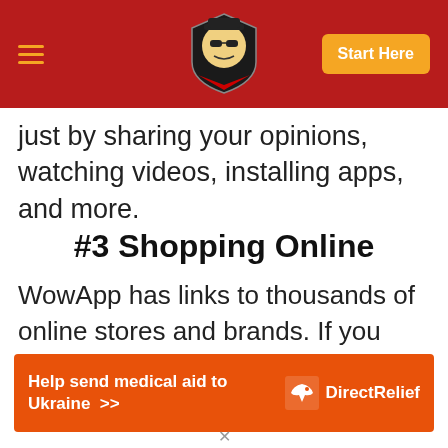Site header with hamburger menu, logo, and Start Here button
just by sharing your opinions, watching videos, installing apps, and more.
#3 Shopping Online
WowApp has links to thousands of online stores and brands. If you shop in one of these stores using the WowApp platform...
[Figure (photo): Colorful carnival or theme park ride image partially visible]
[Figure (infographic): Orange advertisement banner: Help send medical aid to Ukraine >> with Direct Relief logo]